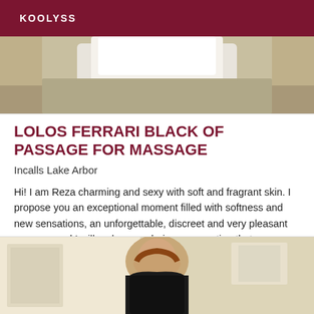KOOLYSS
[Figure (photo): Cropped photo showing lower torso of a person wearing a white shirt, dark skin, against a blurred background]
LOLOS FERRARI BLACK OF PASSAGE FOR MASSAGE
Incalls Lake Arbor
Hi! I am Reza charming and sexy with soft and fragrant skin. I propose you an exceptional moment filled with softness and new sensations, an unforgettable, discreet and very pleasant passage and I will make sure during our meeting that you are 100% satisfied. Kisses
[Figure (photo): Photo of a woman with long brown hair wearing a black strapless outfit, posed in a room with light-colored walls and furniture]